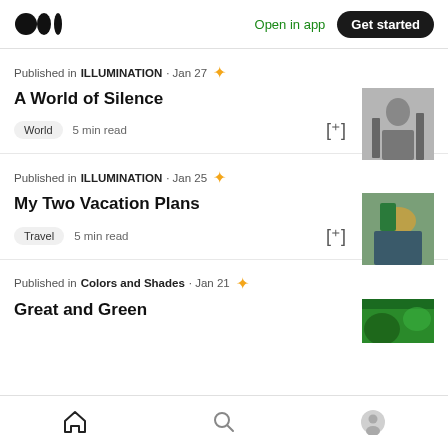Medium logo | Open in app | Get started
Published in ILLUMINATION · Jan 27 ✦
A World of Silence
World   5 min read
[Figure (photo): Black and white photo of a person shouting]
Published in ILLUMINATION · Jan 25 ✦
My Two Vacation Plans
Travel   5 min read
[Figure (photo): Overhead photo of travel items, hat and bag]
Published in Colors and Shades · Jan 21 ✦
Great and Green
[Figure (photo): Green foliage photo]
Home | Search | Profile